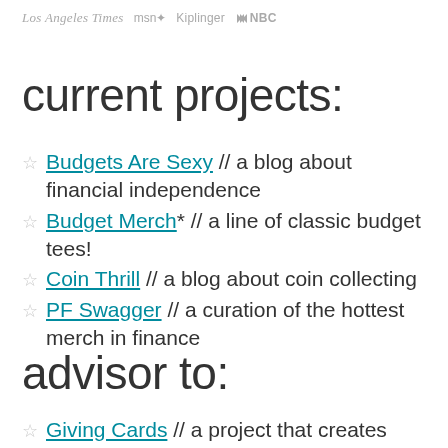Los Angeles Times  msn  Kiplinger  NBC
current projects:
☆ Budgets Are Sexy // a blog about financial independence
☆ Budget Merch* // a line of classic budget tees!
☆ Coin Thrill // a blog about coin collecting
☆ PF Swagger // a curation of the hottest merch in finance
advisor to:
☆ Giving Cards // a project that creates